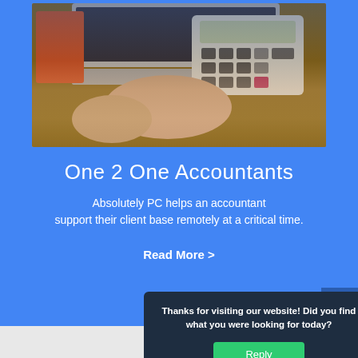[Figure (photo): Person using a calculator at a desk with a laptop in the background]
One 2 One Accountants
Absolutely PC helps an accountant support their client base remotely at a critical time.
Read More >
Thanks for visiting our website! Did you find what you were looking for today?
Reply